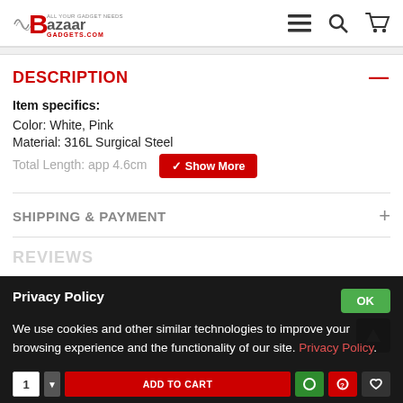Bazaar Gadgets — header with logo and navigation icons (hamburger menu, search, cart)
DESCRIPTION
Item specifics:
Color: White, Pink
Material: 316L Surgical Steel
Total Length: app 4.6cm
SHIPPING & PAYMENT
REVIEWS
Privacy Policy
We use cookies and other similar technologies to improve your browsing experience and the functionality of our site. Privacy Policy.